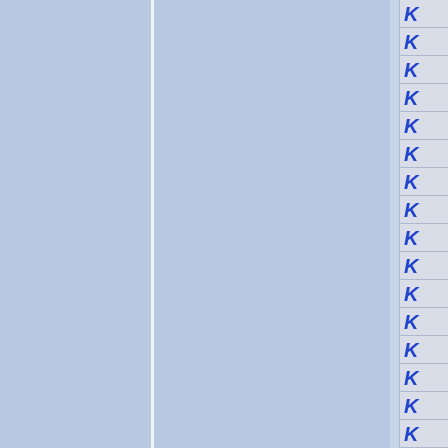[Figure (other): Page layout with two large light blue panels separated by a white vertical divider on the left side, and a narrow right column containing 16 rows of blue italic bold letter K on a light grey background, each row separated by a thin grey horizontal line.]